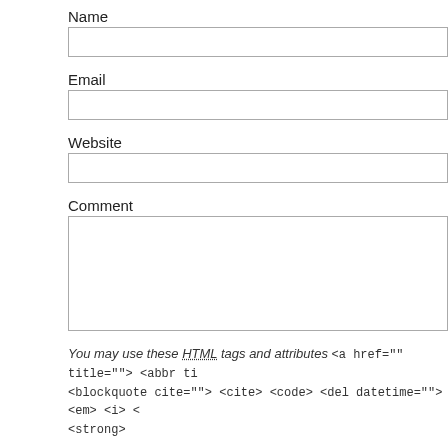Name
Email
Website
Comment
You may use these HTML tags and attributes <a href="" title=""> <abbr ti... <blockquote cite=""> <cite> <code> <del datetime=""> <em> <i> <... <strong>
Security Question:
What is 0 + 0 ?